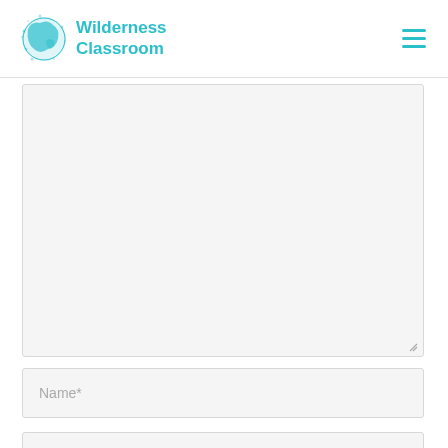Wilderness Classroom
[Figure (screenshot): Wilderness Classroom logo with teal globe icon and teal text reading Wilderness Classroom, plus hamburger menu icon on the right]
Comment textarea (empty text area field)
Name*
Email*